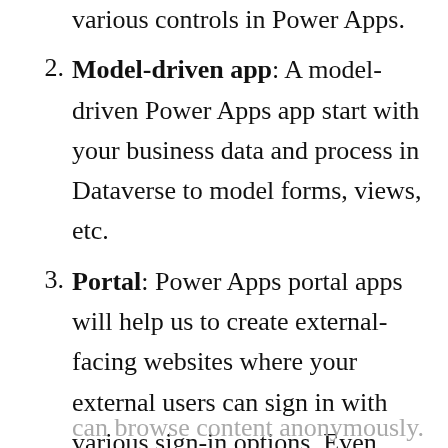various controls in Power Apps.
Model-driven app: A model-driven Power Apps app start with your business data and process in Dataverse to model forms, views, etc.
Portal: Power Apps portal apps will help us to create external-facing websites where your external users can sign in with various sign-in options. Even users
can browse content anonymously.